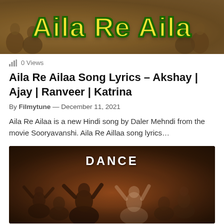[Figure (photo): Movie still from Sooryavanshi showing the text 'Aila Re Aila' in large yellow stylized font with green outline over a group of people in uniforms]
0 Views
Aila Re Ailaa Song Lyrics – Akshay | Ajay | Ranveer | Katrina
By Filmytune — December 11, 2021
Aila Re Ailaa is a new Hindi song by Daler Mehndi from the movie Sooryavanshi. Aila Re Aillaa song lyrics…
[Figure (photo): Dance scene with crowd of people dancing, with 'DANCE' text overlaid in white bold letters at the top center]